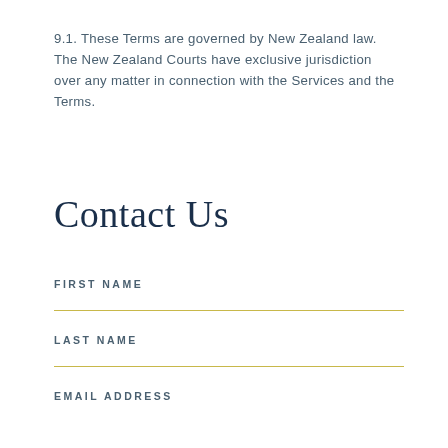9.1. These Terms are governed by New Zealand law. The New Zealand Courts have exclusive jurisdiction over any matter in connection with the Services and the Terms.
Contact Us
FIRST NAME
LAST NAME
EMAIL ADDRESS